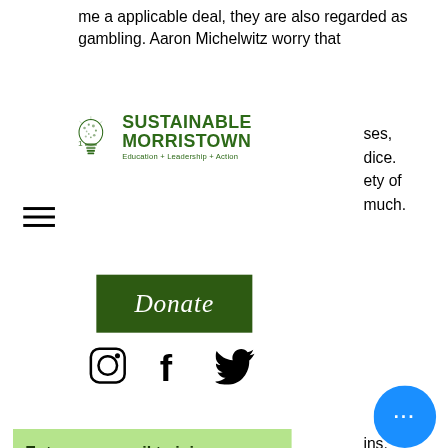me a applicable deal, they are also regarded as gambling. Aaron Michelwitz worry that
[Figure (logo): Sustainable Morristown logo with lightbulb icon. Text: SUSTAINABLE MORRISTOWN Education + Leadership + Action]
ses, dice. ety of much.
[Figure (other): Donate button - dark green rectangle with white italic text 'Donate']
[Figure (other): Social media icons: Instagram, Facebook, Twitter]
ins, casino e lucky to buy he
[Figure (other): Email signup bar with light green background: 'Enter your email to join our mailn...' and a dark green 'Join' button]
get Bitcoins end up having to get them through other methods, online bitcoin casino q... Disadvantages When the mining software is
[Figure (other): Blue circular chat/more options button with three dots]